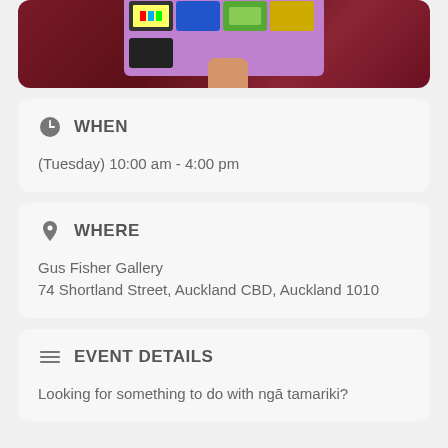[Figure (photo): A hand holding a colorful card with illustrated TV screens on a purple background, photographed against a red wall.]
WHEN
(Tuesday) 10:00 am - 4:00 pm
WHERE
Gus Fisher Gallery
74 Shortland Street, Auckland CBD, Auckland 1010
EVENT DETAILS
Looking for something to do with ngā tamariki?